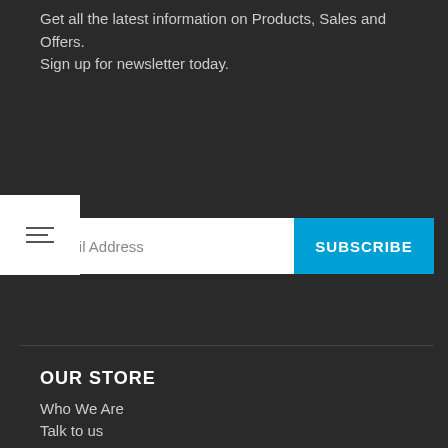Get all the latest information on Products, Sales and Offers. Sign up for newsletter today.
[Figure (other): Filter/settings icon - three horizontal lines with adjustment marks]
mail Address
SUBSCRIBE
OUR STORE
Who We Are
Talk to us
My Account
Shop
Make Payment